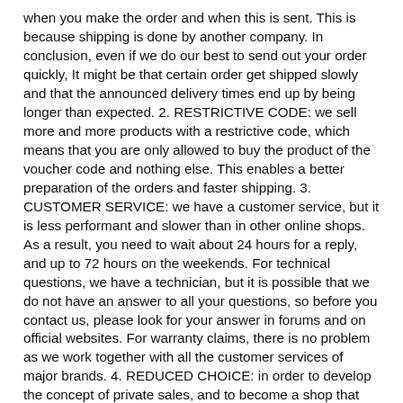when you make the order and when this is sent. This is because shipping is done by another company. In conclusion, even if we do our best to send out your order quickly, It might be that certain order get shipped slowly and that the announced delivery times end up by being longer than expected. 2. RESTRICTIVE CODE: we sell more and more products with a restrictive code, which means that you are only allowed to buy the product of the voucher code and nothing else. This enables a better preparation of the orders and faster shipping. 3. CUSTOMER SERVICE: we have a customer service, but it is less performant and slower than in other online shops. As a result, you need to wait about 24 hours for a reply, and up to 72 hours on the weekends. For technical questions, we have a technician, but it is possible that we do not have an answer to all your questions, so before you contact us, please look for your answer in forums and on official websites. For warranty claims, there is no problem as we work together with all the customer services of major brands. 4. REDUCED CHOICE: in order to develop the concept of private sales, and to become a shop that only sells items on private sales, we reduce the products we have on our website. The choice you will have is reduced and RCZ will have a little number of products available. 5. SHIPPING COSTS: we have shipping fees, as unfortunately we are obliged to have you pay those, since our margins are very little (due to the low price), we do not have the means to offer free shipping. In conclusion, traditional shops (and online shops) offer you advice, different services and maybe even the fitting of your components. We do not offer this, or at least in a very limited way. If you accept our philosophy, we will for sure make great deals together. But if you expect to receive the same service than the one of other players in the world of cycling, you might